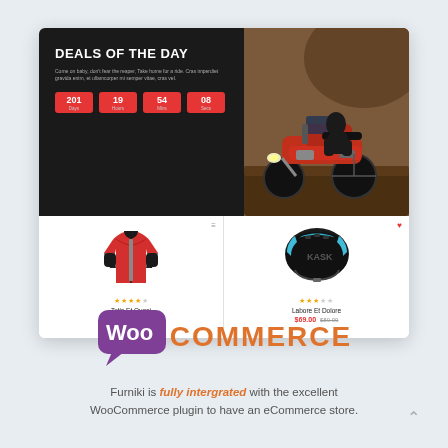[Figure (screenshot): E-commerce website screenshot showing Deals of The Day section with countdown timer, product cards (red jacket, cycling helmet), and motorcycle lifestyle image on the right]
[Figure (logo): WooCommerce logo — purple speech bubble with 'Woo' in white, followed by 'COMMERCE' in orange letters]
Furniki is fully intergrated with the excellent WooCommerce plugin to have an eCommerce store.